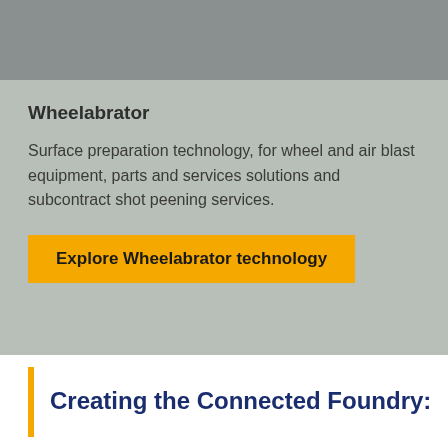[Figure (photo): Gray image/photo placeholder at top of page]
Wheelabrator
Surface preparation technology, for wheel and air blast equipment, parts and services solutions and subcontract shot peening services.
Explore Wheelabrator technology
Creating the Connected Foundry: